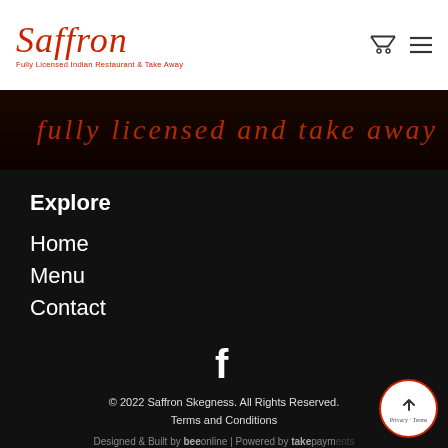[Figure (logo): Saffron restaurant logo in red script with subtitle 'Fully Licensed Indian Restaurant & Take Away']
[Figure (illustration): Dark hero banner with red script text partially visible]
Explore
Home
Menu
Contact
[Figure (illustration): Facebook social media icon in white]
© 2022 Saffron Skegness. All Rights Reserved.
Terms and Conditions
Designed & Built by beeonline | Powered by takepayments